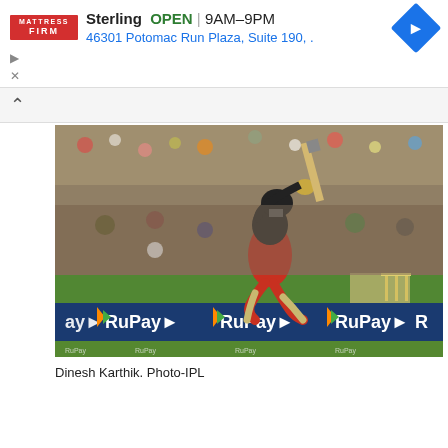[Figure (screenshot): Mattress Firm advertisement banner showing store name 'Sterling', status 'OPEN', hours '9AM-9PM', address '46301 Potomac Run Plaza, Suite 190, .' with a blue navigation diamond arrow icon and Mattress Firm logo.]
[Figure (photo): Cricket photo of Dinesh Karthik batting, wearing RCB red and black jersey, jumping mid-air during a shot with cricket bat raised high. Stadium crowd visible in background. RuPay advertising boards on boundary. Cricket stumps visible on right side.]
Dinesh Karthik. Photo-IPL